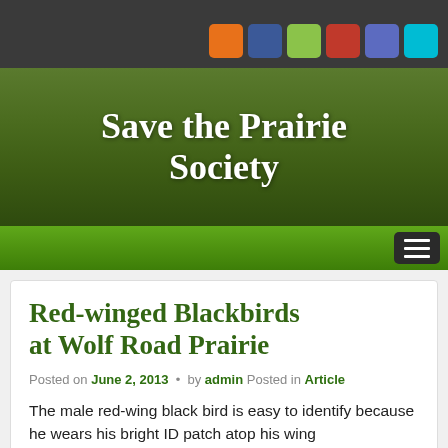Save the Prairie Society
Red-winged Blackbirds at Wolf Road Prairie
Posted on June 2, 2013 • by admin Posted in Article
The male red-wing black bird is easy to identify because he wears his bright ID patch atop his wing